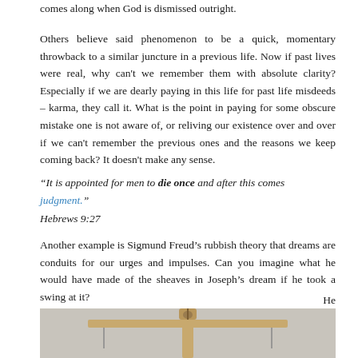comes along when God is dismissed outright.
Others believe said phenomenon to be a quick, momentary throwback to a similar juncture in a previous life. Now if past lives were real, why can't we remember them with absolute clarity? Especially if we are dearly paying in this life for past life misdeeds – karma, they call it. What is the point in paying for some obscure mistake one is not aware of, or reliving our existence over and over if we can't remember the previous ones and the reasons we keep coming back? It doesn't make any sense.
“It is appointed for men to die once and after this comes judgment.” Hebrews 9:27
Another example is Sigmund Freud’s rubbish theory that dreams are conduits for our urges and impulses. Can you imagine what he would have made of the sheaves in Joseph’s dream if he took a swing at it?
He
[Figure (photo): A wooden balance scale or cross-shaped wooden object mounted on a pole against a light gray background.]